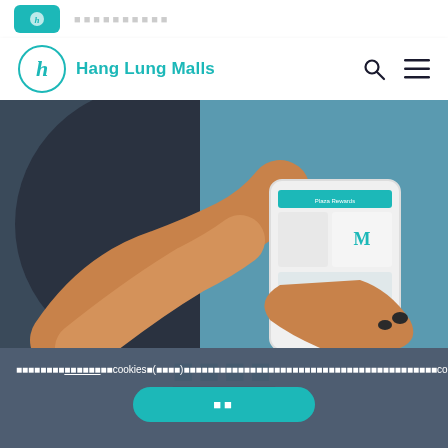Hang Lung Malls
[Figure (screenshot): Person holding a smartphone displaying the Hang Lung Malls app with shopping rewards interface]
（Chinese characters for title）
（Chinese text about cookies policy, including underlined link, cookies usage notice and accept button）